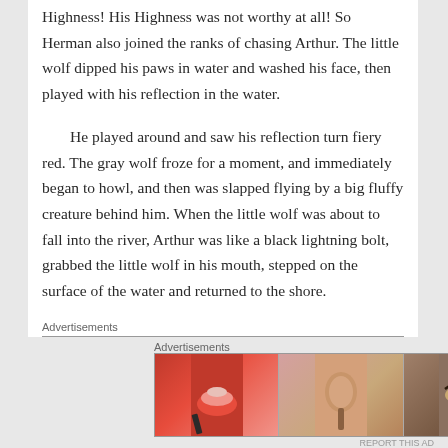Highness! His Highness was not worthy at all! So Herman also joined the ranks of chasing Arthur. The little wolf dipped his paws in water and washed his face, then played with his reflection in the water.
He played around and saw his reflection turn fiery red. The gray wolf froze for a moment, and immediately began to howl, and then was slapped flying by a big fluffy creature behind him. When the little wolf was about to fall into the river, Arthur was like a black lightning bolt, grabbed the little wolf in his mouth, stepped on the surface of the water and returned to the shore.
Advertisements
[Figure (other): Advertisement banner for ULTA beauty showing cosmetic images: lips with red lipstick, makeup brush, eye with eyeshadow, ULTA logo, eyebrows, and SHOP NOW text]
Advertisements
[Figure (other): Duplicate advertisement banner for ULTA beauty at bottom of page]